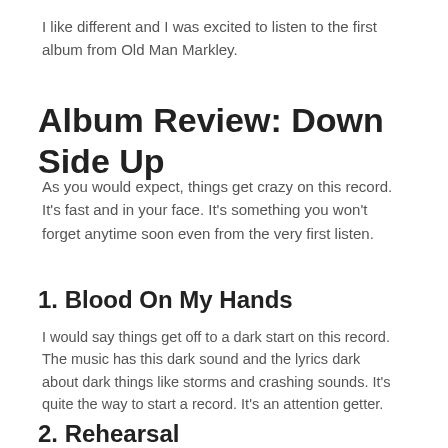I like different and I was excited to listen to the first album from Old Man Markley.
Album Review: Down Side Up
As you would expect, things get crazy on this record. It's fast and in your face. It's something you won't forget anytime soon even from the very first listen.
1. Blood On My Hands
I would say things get off to a dark start on this record. The music has this dark sound and the lyrics dark about dark things like storms and crashing sounds. It's quite the way to start a record. It's an attention getter.
2. Rehearsal